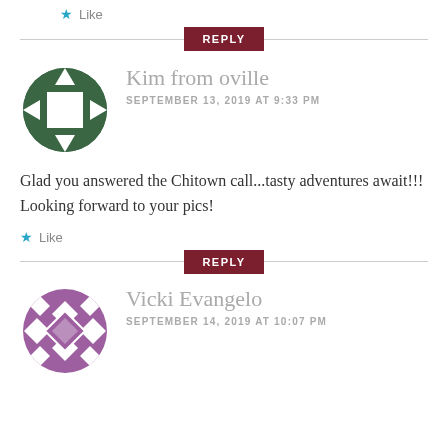★ Like
REPLY
[Figure (illustration): Green circular avatar with quilt/geometric pattern in white and dark green]
Kim from oville
SEPTEMBER 13, 2019 AT 9:33 PM
Glad you answered the Chitown call...tasty adventures await!!! Looking forward to your pics!
★ Like
REPLY
[Figure (illustration): Purple circular avatar with diamond/geometric quilt pattern]
Vicki Evangelo
SEPTEMBER 14, 2019 AT 10:07 PM